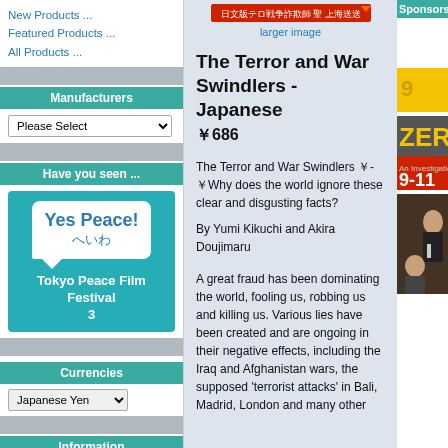New Products ...
Featured Products ...
All Products ...
Manufacturers
Please Select
Have you seen ...
[Figure (logo): Yes Peace! Tokyo Peace Film Festival 3 logo in teal box]
Currencies
Japanese Yen
Information
Shipping & Returns
Privacy Notice
Conditions of Use
Contact Us
Site Map
Newsletter Unsubscribe
larger image
The Terror and War Swindlers - Japanese
￥686
The Terror and War Swindlers ￥-￥Why does the world ignore these clear and disgusting facts?
By Yumi Kikuchi and Akira Doujimaru
A great fraud has been dominating the world, fooling us, robbing us and killing us. Various lies have been created and are ongoing in their negative effects, including the Iraq and Afghanistan wars, the supposed 'terrorist attacks' in Bali, Madrid, London and many other
Sponsors
[Figure (photo): Yellow advertisement banner]
[Figure (photo): ZERO An Investigation 9-11 book/film cover in dark grey with red and yellow text]
[Figure (photo): Photo of man with microphone and woman at event]